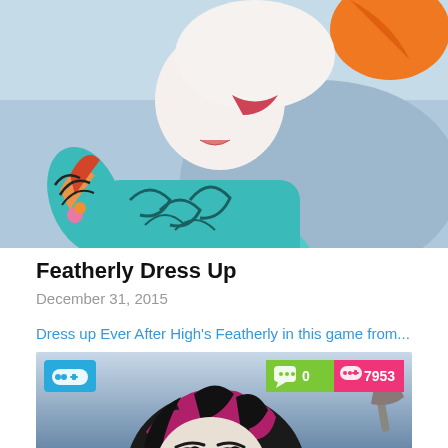[Figure (illustration): Top portion of an illustrated cartoon character wearing a teal/blue patterned outfit with decorative arm tattoos, on a light blue background. Only torso and arm visible.]
Featherly Dress Up
December 31, 2015
Dress up Ever After High's Featherly in this game from...
[Figure (screenshot): Screenshot of a dress-up game featuring a cartoon villain character with black and magenta streaked hair, pale skin, green eyes, heavy eye makeup. Blue background. Top-left: blue badge with game controller icon. Top-right: green badge showing comment icon and '0', pink badge showing game controller icon and '7953'. Right edge shows a partial axe weapon.]